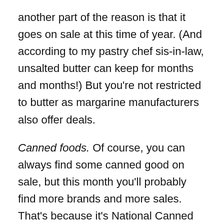another part of the reason is that it goes on sale at this time of year. (And according to my pastry chef sis-in-law, unsalted butter can keep for months and months!) But you're not restricted to butter as margarine manufacturers also offer deals.
Canned foods. Of course, you can always find some canned good on sale, but this month you'll probably find more brands and more sales. That's because it's National Canned Food month. And, no, I'm not making this stuff up.
Toothpaste & mouth hygiene products. Valentine's Day (the day of chocolate) also prompts sales on all things oral.